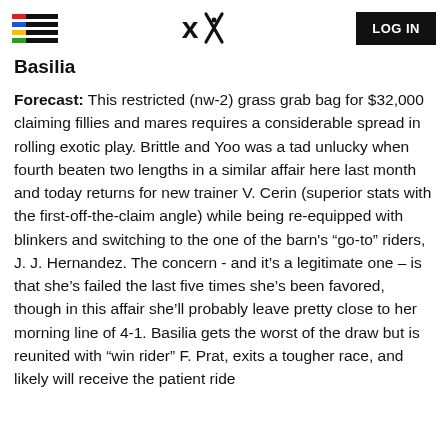LOG IN
Basilia
Forecast: This restricted (nw-2) grass grab bag for $32,000 claiming fillies and mares requires a considerable spread in rolling exotic play. Brittle and Yoo was a tad unlucky when fourth beaten two lengths in a similar affair here last month and today returns for new trainer V. Cerin (superior stats with the first-off-the-claim angle) while being re-equipped with blinkers and switching to the one of the barn's “go-to” riders, J. J. Hernandez. The concern - and it’s a legitimate one – is that she’s failed the last five times she’s been favored, though in this affair she’ll probably leave pretty close to her morning line of 4-1. Basilia gets the worst of the draw but is reunited with “win rider” F. Prat, exits a tougher race, and likely will receive the patient ride